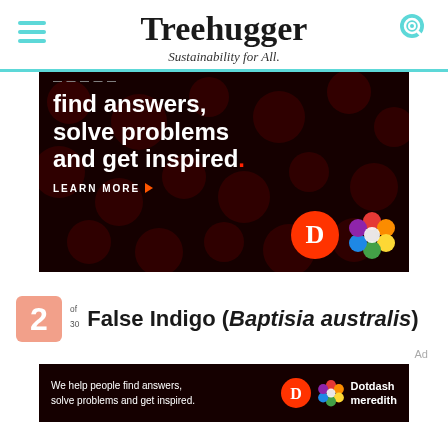Treehugger — Sustainability for All.
[Figure (screenshot): Dotdash Meredith advertisement: black background with dark red dot pattern. Text reads: 'find answers, solve problems and get inspired.' with 'LEARN MORE' and Dotdash Meredith logos.]
2 of 30  False Indigo (Baptisia australis)
Ad
[Figure (screenshot): Small Dotdash Meredith advertisement at bottom: 'We help people find answers, solve problems and get inspired.' with logos for Dotdash and Dotdash Meredith.]